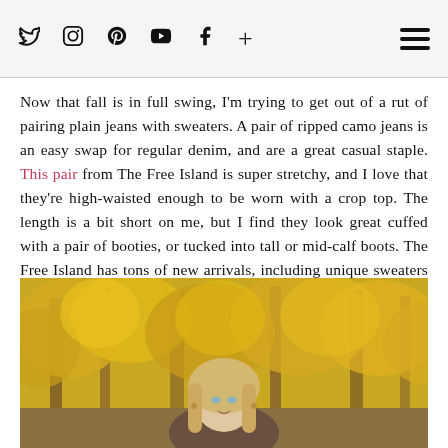Social media icons: Twitter, Instagram, Pinterest, YouTube, Facebook, Plus | Hamburger menu
Now that fall is in full swing, I'm trying to get out of a rut of pairing plain jeans with sweaters. A pair of ripped camo jeans is an easy swap for regular denim, and are a great casual staple. This pair from The Free Island is super stretchy, and I love that they're high-waisted enough to be worn with a crop top. The length is a bit short on me, but I find they look great cuffed with a pair of booties, or tucked into tall or mid-calf boots. The Free Island has tons of new arrivals, including unique sweaters and cozy coats! I also love that the e-shop is based in Toronto (hello, no duty fees!)
[Figure (photo): A young blonde woman photographed outdoors in front of autumn yellow-leaved trees]